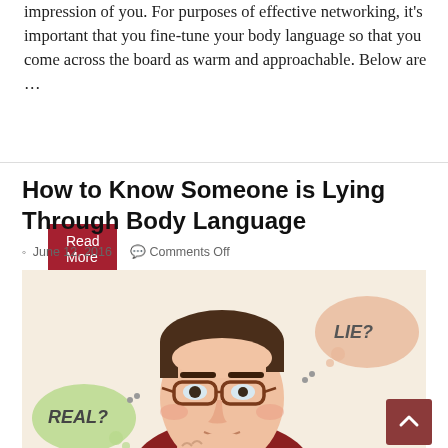impression of you. For purposes of effective networking, it's important that you fine-tune your body language so that you come across the board as warm and approachable. Below are …
Read More »
How to Know Someone is Lying Through Body Language
June 12, 2016   Comments Off
[Figure (illustration): Illustration of a man with glasses and brown hair resting his chin on his hand, with a green speech bubble saying 'REAL?' on the left and a peach speech bubble saying 'LIE?' on the right]
It's a common fact that words make up just 7% of our entire